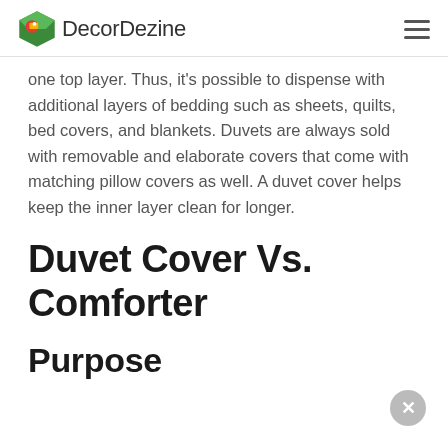DecorDezine
one top layer. Thus, it's possible to dispense with additional layers of bedding such as sheets, quilts, bed covers, and blankets. Duvets are always sold with removable and elaborate covers that come with matching pillow covers as well. A duvet cover helps keep the inner layer clean for longer.
Duvet Cover Vs. Comforter
Purpose